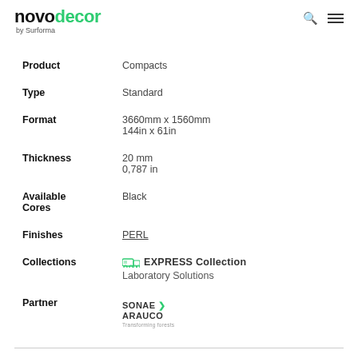novodecor by Surforma
| Field | Value |
| --- | --- |
| Product | Compacts |
| Type | Standard |
| Format | 3660mm x 1560mm
144in x 61in |
| Thickness | 20 mm
0,787 in |
| Available Cores | Black |
| Finishes | PERL |
| Collections | EXPRESS Collection
Laboratory Solutions |
| Partner | SONAE ARAUCO |